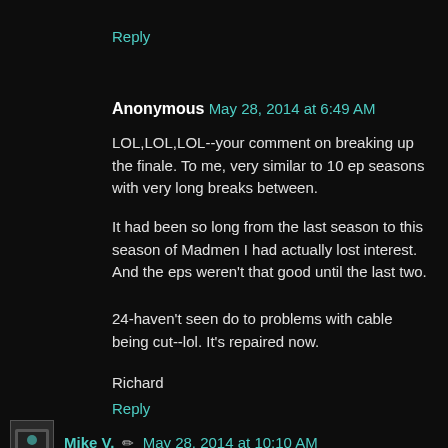Reply
Anonymous  May 28, 2014 at 6:49 AM
LOL,LOL,LOL--your comment on breaking up the finale. To me, very similar to 10 ep seasons with very long breaks between.
It had been so long from the last season to this season of Madmen I had actually lost interest. And the eps weren't that good until the last two.
24-haven't seen do to problems with cable being cut--lol. It's repaired now.
Richard
Reply
Mike V.  ✏  May 28, 2014 at 10:10 AM